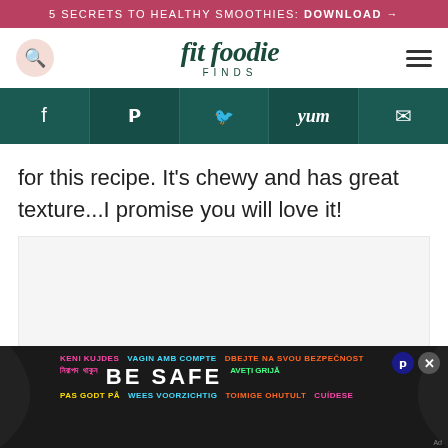5 SECRETS TO HEALTHY SMOOTHIES: DOWNLOAD →
fit foodie FINDS
[Figure (screenshot): Social sharing bar with Facebook, Pinterest, Twitter, Yummly, and email icons on dark teal background]
for this recipe. It's chewy and has great texture...I promise you will love it!
[Figure (photo): Image placeholder area with light gray background]
[Figure (infographic): BE SAFE multilingual safety advertisement banner with colorful text in multiple languages]